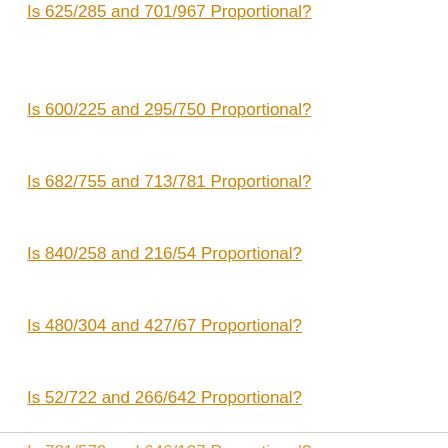Is 625/285 and 701/967 Proportional?
Is 600/225 and 295/750 Proportional?
Is 682/755 and 713/781 Proportional?
Is 840/258 and 216/54 Proportional?
Is 480/304 and 427/67 Proportional?
Is 52/722 and 266/642 Proportional?
Is 27/533 and 709/809 Proportional?
Is 635/416 and 315/251 Proportional?
Is 781/579 and 646/137 Proportional?